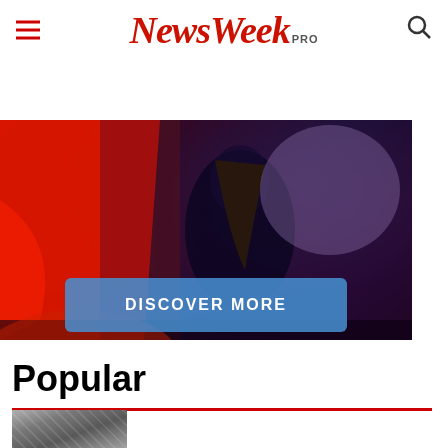≡ NewsWeek PRO 🔍
[Figure (photo): Hero image with dramatic red and dark blue/purple lighting showing a person in dark clothing against a red fabric background, with a 'DISCOVER MORE' button overlay]
Popular
[Figure (photo): Small thumbnail image at bottom left, appears to be a nature or outdoor scene in grayscale/muted tones]